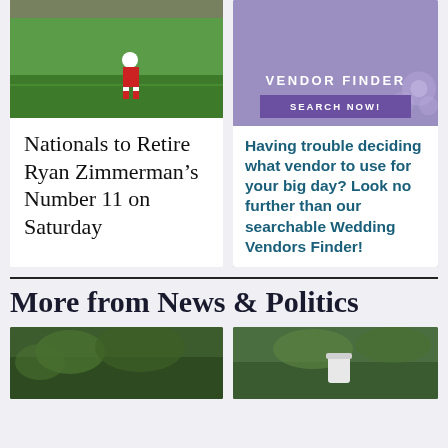[Figure (photo): Baseball player on a green field]
Nationals to Retire Ryan Zimmerman’s Number 11 on Saturday
[Figure (screenshot): Wedding Vendor Finder advertisement with purple background, VENDOR FINDER title, SEARCH NOW! button, and flower decorations]
Having trouble deciding what vendor to use for your big day? Look no further than our searchable Wedding Vendors Finder!
More from News & Politics
[Figure (photo): Outdoor scene with green trees and foliage]
[Figure (photo): Outdoor scene with greenery]